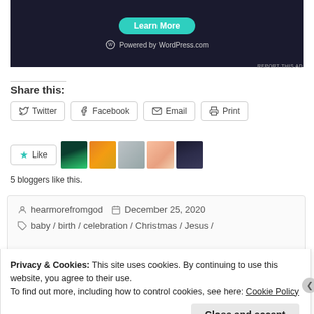[Figure (screenshot): Dark background ad banner with teal 'Learn More' button and WordPress.com logo and text 'Powered by WordPress.com']
REPORT THIS AD
Share this:
Twitter  Facebook  Email  Print
[Figure (screenshot): Like button with teal star icon and 5 blogger avatar thumbnails]
5 bloggers like this.
hearmorefromgod   December 25, 2020
baby / birth / celebration / Christmas / Jesus /
Privacy & Cookies: This site uses cookies. By continuing to use this website, you agree to their use.
To find out more, including how to control cookies, see here: Cookie Policy
Close and accept